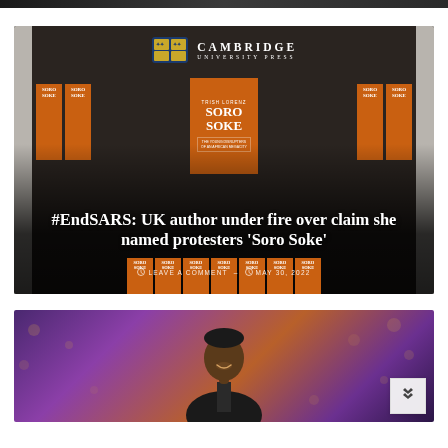[Figure (photo): Cropped top edge of a photograph, dark toned]
[Figure (photo): Cambridge University Press bookshop window displaying multiple copies of 'Soro Soke' by Trish Lorenz, with orange book covers prominently featured]
#EndSARS: UK author under fire over claim she named protesters 'Soro Soke'
LEAVE A COMMENT  –  MAY 30, 2022
[Figure (photo): Portrait photo of a Black man in a suit, smiling, against a bokeh background with purple and gold tones]